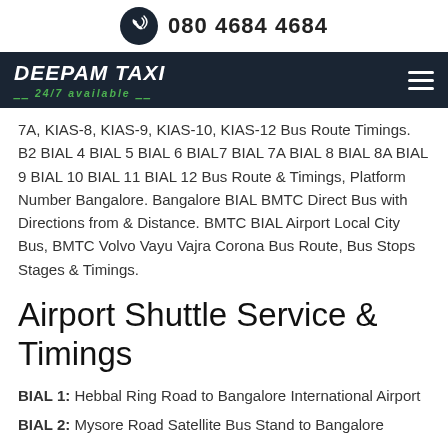080 4684 4684
[Figure (logo): Deepam Taxi logo with 24/7 available tagline on dark navy background, with hamburger menu icon]
7A, KIAS-8, KIAS-9, KIAS-10, KIAS-12 Bus Route Timings. B2 BIAL 4 BIAL 5 BIAL 6 BIAL7 BIAL 7A BIAL 8 BIAL 8A BIAL 9 BIAL 10 BIAL 11 BIAL 12 Bus Route & Timings, Platform Number Bangalore. Bangalore BIAL BMTC Direct Bus with Directions from & Distance. BMTC BIAL Airport Local City Bus, BMTC Volvo Vayu Vajra Corona Bus Route, Bus Stops Stages & Timings.
Airport Shuttle Service & Timings
BIAL 1: Hebbal Ring Road to Bangalore International Airport
BIAL 2: Mysore Road Satellite Bus Stand to Bangalore